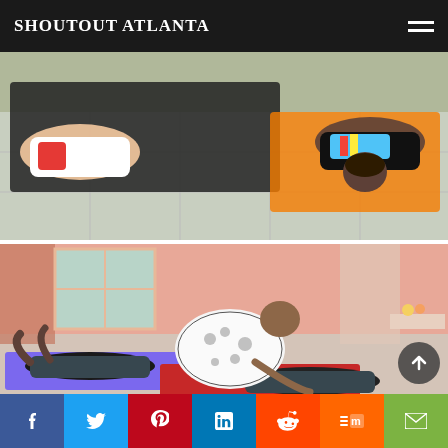SHOUTOUT ATLANTA
[Figure (photo): People doing yoga/stretching exercises on yoga mats in a studio. Top image shows someone lying on their back on a dark yoga mat, another person in the background. Orange mat visible. Overhead view.]
[Figure (photo): Yoga class in a pink-walled studio. A yoga instructor wearing a paisley patterned top leans over to assist a student lying on a red mat. Another student lies on a purple mat in the background. Curtained windows visible.]
f  Twitter  Pinterest  in  Reddit  Mix  Email